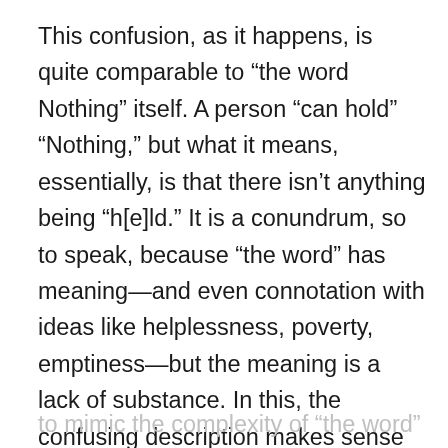This confusion, as it happens, is quite comparable to “the word Nothing” itself. A person “can hold” “Nothing,” but what it means, essentially, is that there isn’t anything being “h[e]ld.” It is a conundrum, so to speak, because “the word” has meaning—and even connotation with ideas like helplessness, poverty, emptiness—but the meaning is a lack of substance. In this, the confusing description makes sense because the meaning of “the word” is so complex. In fact, it is the most complex description of these “word” scenarios so far
to mimic the complexity of “the word” itself.